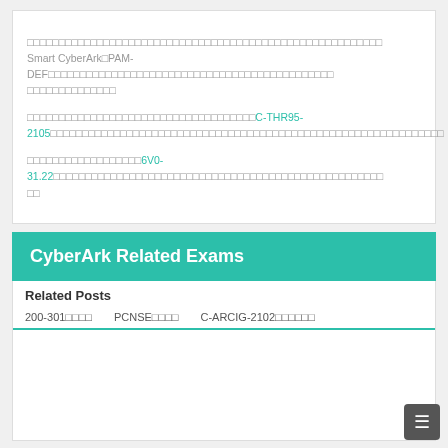□□□□□□□□□□□□□□□□□□□□□□□□□□□□□□□□□□□□□□□□□□□□□□□□□□□□□□□□Smart CyberArk□PAM-DEF□□□□□□□□□□□□□□□□□□□□□□□□□□□□□□□□□□□□□□□□□□□□□
□□□□□□□□□□□□□□□□□□□□□□□□□□□□□□□□□□□□C-THR95-2105□□□□□□□□□□□□□□□□□□□□□□□□□□□□□□□□□□□□□□□□□□□□□□□□□□□□□□□□□□□□□□
□□□□□□□□□□□□□□□□□□6V0-31.22□□□□□□□□□□□□□□□□□□□□□□□□□□□□□□□□□□□□□□□□□□□□□□□□□□
CyberArk Related Exams
Related Posts
200-301□□□□	PCNSE□□□□	C-ARCIG-2102□□□□□□